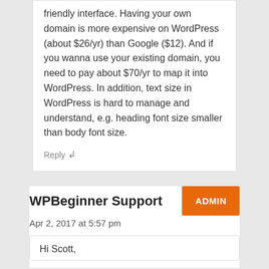friendly interface. Having your own domain is more expensive on WordPress (about $26/yr) than Google ($12). And if you wanna use your existing domain, you need to pay about $70/yr to map it into WordPress. In addition, text size in WordPress is hard to manage and understand, e.g. heading font size smaller than body font size.
Reply ↲
WPBeginner Support
ADMIN
Apr 2, 2017 at 5:57 pm
Hi Scott,